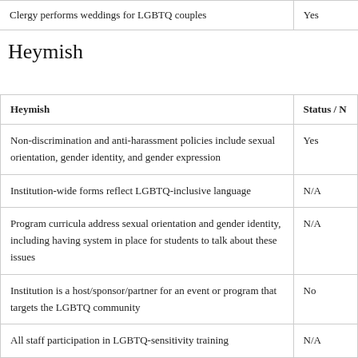|  | Status / N |
| --- | --- |
| Clergy performs weddings for LGBTQ couples | Yes |
Heymish
| Heymish | Status / N |
| --- | --- |
| Non-discrimination and anti-harassment policies include sexual orientation, gender identity, and gender expression | Yes |
| Institution-wide forms reflect LGBTQ-inclusive language | N/A |
| Program curricula address sexual orientation and gender identity, including having system in place for students to talk about these issues | N/A |
| Institution is a host/sponsor/partner for an event or program that targets the LGBTQ community | No |
| All staff participation in LGBTQ-sensitivity training | N/A |
| Institution uses inclusive language and photos in its client | Yes |